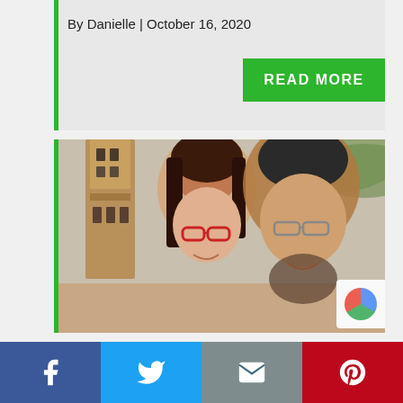By Danielle | October 16, 2020
READ MORE
[Figure (photo): Selfie photo of a smiling woman with long brown hair and red glasses, and a smiling man with a beard and dark beanie hat, standing in front of a brick tower building.]
Facebook | Twitter | Email | Pinterest share buttons